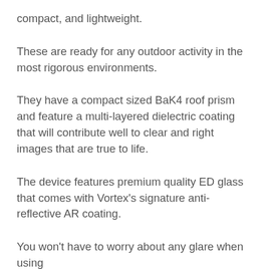compact, and lightweight.
These are ready for any outdoor activity in the most rigorous environments.
They have a compact sized BaK4 roof prism and feature a multi-layered dielectric coating that will contribute well to clear and right images that are true to life.
The device features premium quality ED glass that comes with Vortex's signature anti-reflective AR coating.
You won't have to worry about any glare when using